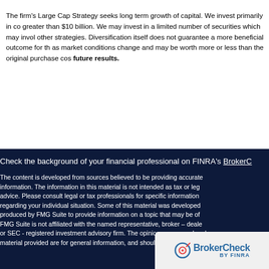The firm's Large Cap Strategy seeks long term growth of capital. We invest primarily in co greater than $10 billion. We may invest in a limited number of securities which may invol other strategies. Diversification itself does not guarantee a more beneficial outcome for th as market conditions change and may be worth more or less than the original purchase cos future results.
Check the background of your financial professional on FINRA's BrokerC
The content is developed from sources believed to be providing accurate information. The information in this material is not intended as tax or leg advice. Please consult legal or tax professionals for specific information regarding your individual situation. Some of this material was developed produced by FMG Suite to provide information on a topic that may be of FMG Suite is not affiliated with the named representative, broker – deale or SEC - registered investment advisory firm. The opinions expressed and material provided are for general information, and should not be consid
[Figure (logo): BrokerCheck by FINRA logo overlay popup]